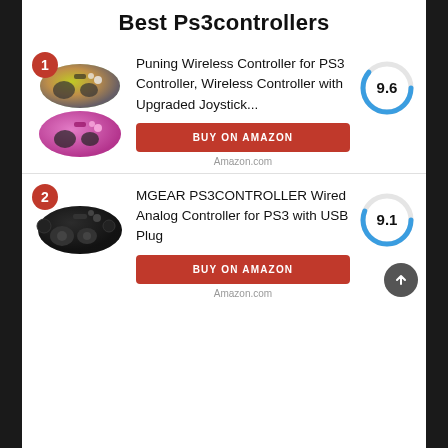Best Ps3controllers
[Figure (infographic): Product listing card 1: Puning Wireless Controller for PS3, score 9.6, with two PS3 controller images (colorful and pink) and a Buy on Amazon button]
[Figure (infographic): Product listing card 2: MGEAR PS3CONTROLLER Wired Analog Controller for PS3 with USB Plug, score 9.1, with a black PS3 controller image and a Buy on Amazon button]